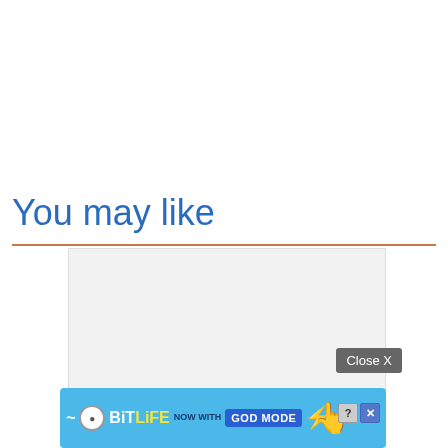You may like
[Figure (other): Advertisement placeholder area - light gray rectangle]
Close X
[Figure (other): BitLife mobile game advertisement banner - blue background with BitLife logo, 'NOW WITH GOD MODE' text, lightning bolt, and pointing hand graphic]